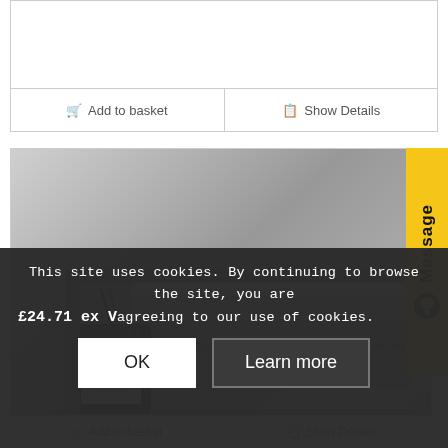£27.50 ex VAT
Add to basket | Show Details
[Figure (photo): Crossflow tangential fan blower unit with motor, cylindrical rotor, and metal mounting bracket, viewed from the side.]
Message
This site uses cookies. By continuing to browse the site, you are agreeing to our use of cookies.
£24.71 ex VAT
OK | Learn more
Add to basket | Show Details